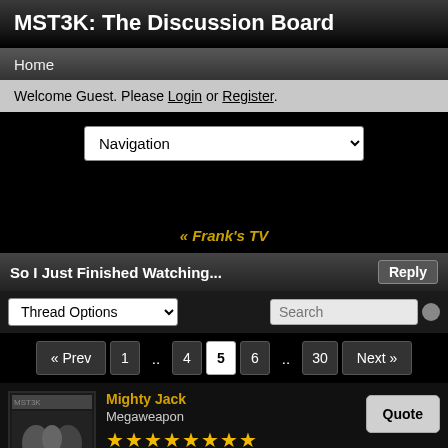MST3K: The Discussion Board
Home
Welcome Guest. Please Login or Register.
Navigation (dropdown)
« Frank's TV
So I Just Finished Watching...
Thread Options | Search | « Prev 1 .. 4 5 6 .. 30 Next »
Mighty Jack
Megaweapon
★★★★★★★★
Sep 2, 2009 at 6:59am